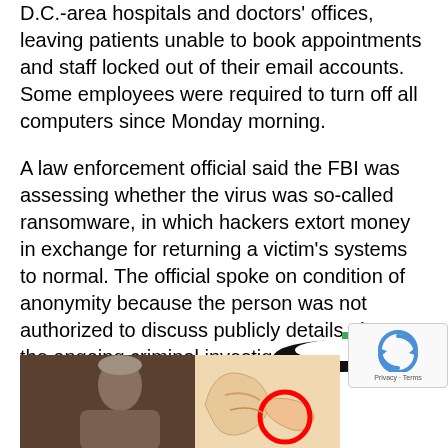D.C.-area hospitals and doctors' offices, leaving patients unable to book appointments and staff locked out of their email accounts. Some employees were required to turn off all computers since Monday morning.
A law enforcement official said the FBI was assessing whether the virus was so-called ransomware, in which hackers extort money in exchange for returning a victim's systems to normal. The official spoke on condition of anonymity because the person was not authorized to discuss publicly details about the ongoing criminal investigation.
[Figure (logo): A stylized logo with a black crescent/swoosh shape and a green rectangle element, resembling a media or tech company logo.]
[Figure (photo): Photo of an older man with gray hair, appearing to be a public figure or official, shown from the shoulders up against a dark background.]
[Figure (illustration): Medical illustration of the inner ear anatomy with a red circle highlight, showing cross-section of outer and inner ear structures.]
[Figure (other): reCAPTCHA verification widget overlay with circular arrow icon and Privacy/Terms text.]